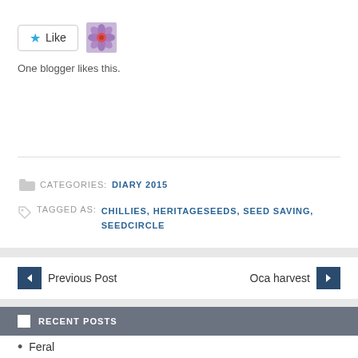[Figure (other): Like button with star icon and blogger avatar flower photo]
One blogger likes this.
CATEGORIES: DIARY 2015
TAGGED AS: CHILLIES, HERITAGESEEDS, SEED SAVING, SEEDCIRCLE
← Previous Post
Oca harvest →
RECENT POSTS
Feral
Tulips in the rain